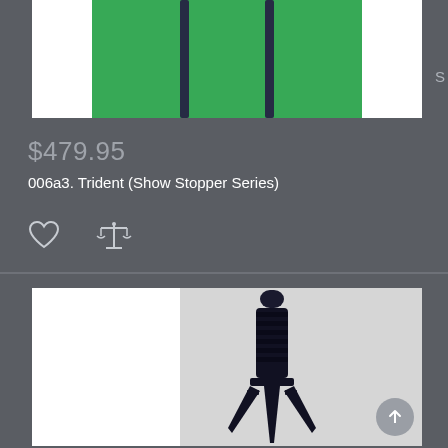[Figure (photo): Top portion of a product listing showing green background with dark trident tines visible from above]
$479.95
006a3. Trident (Show Stopper Series)
[Figure (other): Heart icon (wishlist) and balance scale icon (compare)]
[Figure (photo): Photo of a black dagger/trident knife with wrapped handle and spiked cross-guard on a light gray background]